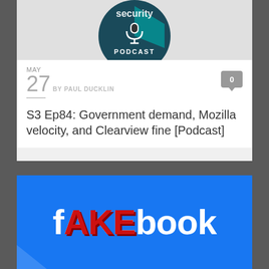[Figure (illustration): Naked Security Podcast logo — circular dark teal badge with microphone icon and 'PODCAST' text below, partially cropped at top]
MAY
27  BY PAUL DUCKLIN
S3 Ep84: Government demand, Mozilla velocity, and Clearview fine [Podcast]
[Figure (illustration): Blue Facebook-style banner with 'FAKEbook' text — 'FAKE' letters rendered in red/3D style over the white 'facebook' wordmark on a bright blue background]